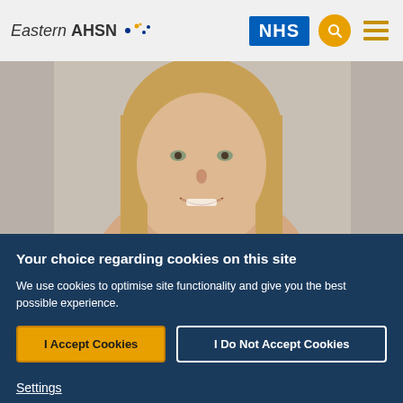Eastern AHSN | NHS
[Figure (photo): Close-up photo of a smiling woman with long blonde/light brown hair against a light background]
Your choice regarding cookies on this site
We use cookies to optimise site functionality and give you the best possible experience.
I Accept Cookies
I Do Not Accept Cookies
Settings